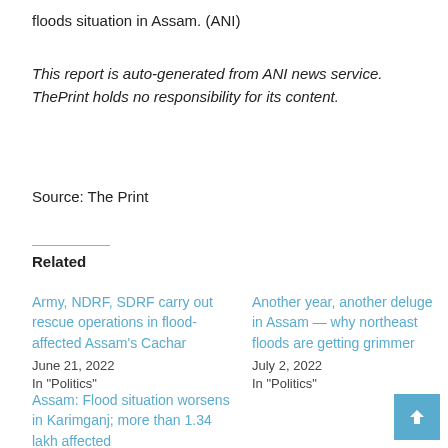floods situation in Assam. (ANI)
This report is auto-generated from ANI news service. ThePrint holds no responsibility for its content.
Source: The Print
Related
Army, NDRF, SDRF carry out rescue operations in flood-affected Assam's Cachar
June 21, 2022
In "Politics"
Another year, another deluge in Assam — why northeast floods are getting grimmer
July 2, 2022
In "Politics"
Assam: Flood situation worsens in Karimganj; more than 1.34 lakh affected